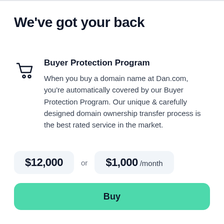We've got your back
Buyer Protection Program
When you buy a domain name at Dan.com, you're automatically covered by our Buyer Protection Program. Our unique & carefully designed domain ownership transfer process is the best rated service in the market.
$12,000 or $1,000 /month
Buy